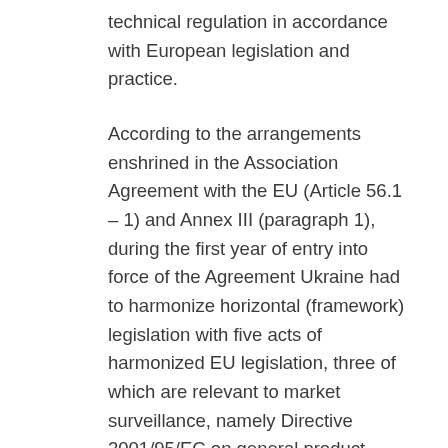technical regulation in accordance with European legislation and practice.
According to the arrangements enshrined in the Association Agreement with the EU (Article 56.1 – 1) and Annex III (paragraph 1), during the first year of entry into force of the Agreement Ukraine had to harmonize horizontal (framework) legislation with five acts of harmonized EU legislation, three of which are relevant to market surveillance, namely Directive 2001/95/EC on general product safety (paragraph 1.1 of Annex III), Regulation (EC) No 765/2008 on general requirements for accreditation and market surveillance relating to the marketing of products (paragraph 1.2 of